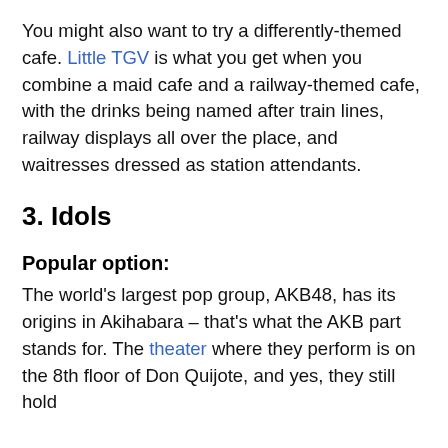You might also want to try a differently-themed cafe. Little TGV is what you get when you combine a maid cafe and a railway-themed cafe, with the drinks being named after train lines, railway displays all over the place, and waitresses dressed as station attendants.
3. Idols
Popular option:
The world's largest pop group, AKB48, has its origins in Akihabara – that's what the AKB part stands for. The theater where they perform is on the 8th floor of Don Quijote, and yes, they still hold